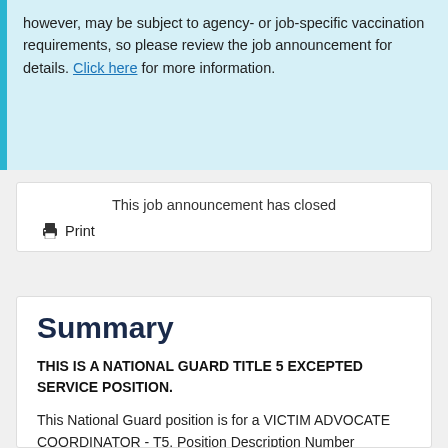however, may be subject to agency- or job-specific vaccination requirements, so please review the job announcement for details. Click here for more information.
This job announcement has closed
Print
Summary
THIS IS A NATIONAL GUARD TITLE 5 EXCEPTED SERVICE POSITION.
This National Guard position is for a VICTIM ADVOCATE COORDINATOR - T5, Position Description Number T5CDFM...